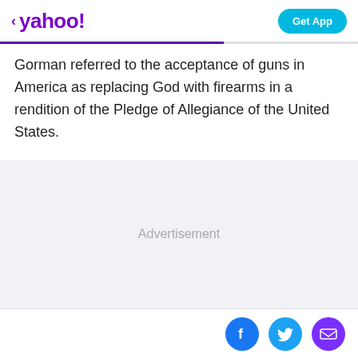< yahoo!   Get App
Gorman referred to the acceptance of guns in America as replacing God with firearms in a rendition of the Pledge of Allegiance of the United States.
[Figure (other): Advertisement placeholder area with light gray background and centered 'Advertisement' label text]
Social share icons: Facebook, Twitter, Email